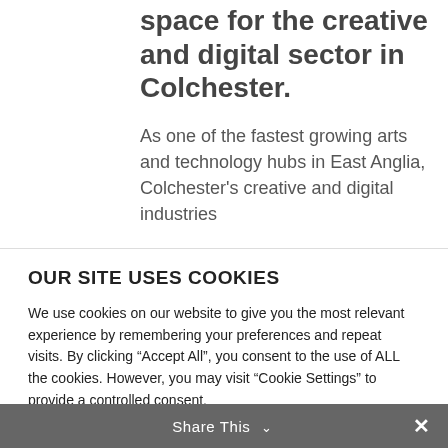space for the creative and digital sector in Colchester.
As one of the fastest growing arts and technology hubs in East Anglia, Colchester’s creative and digital industries
OUR SITE USES COOKIES
We use cookies on our website to give you the most relevant experience by remembering your preferences and repeat visits. By clicking “Accept All”, you consent to the use of ALL the cookies. However, you may visit “Cookie Settings” to provide a controlled consent.
Cookie Preferences   Accept All
Share This ⌄  ×